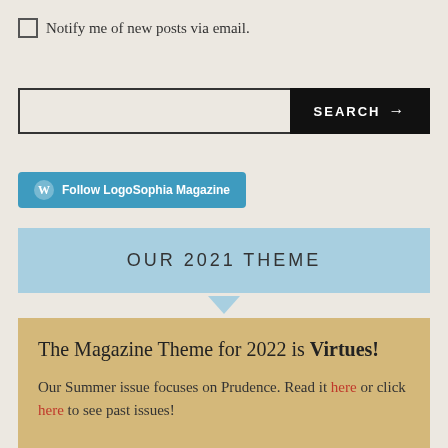Notify me of new posts via email.
SEARCH →
Follow LogoSophia Magazine
OUR 2021 THEME
The Magazine Theme for 2022 is Virtues!
Our Summer issue focuses on Prudence. Read it here or click here to see past issues!